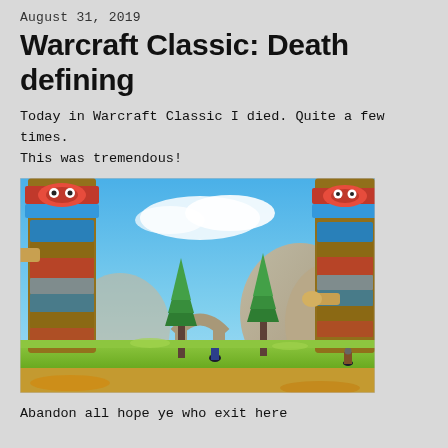August 31, 2019
Warcraft Classic: Death defining
Today in Warcraft Classic I died. Quite a few times. This was tremendous!
[Figure (screenshot): World of Warcraft Classic screenshot showing large totem poles with colorful designs, pine trees, rocky terrain, and a character in the midground under a bright blue sky]
Abandon all hope ye who exit here